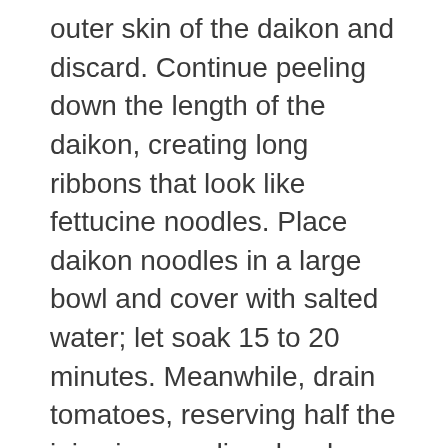outer skin of the daikon and discard. Continue peeling down the length of the daikon, creating long ribbons that look like fettucine noodles. Place daikon noodles in a large bowl and cover with salted water; let soak 15 to 20 minutes. Meanwhile, drain tomatoes, reserving half the juice in a medium bowl. Squeeze tomatoes with your hands into the bowl of reserved juice; mash to combine. You should have about 2 cups.
In a medium heavy-bottomed saucepan, heat oil over medium-high heat. Add onions and garlic; cook until softened, about 3 minutes. Add tomatoes and salt. Bring to a boil and cook, stirring often, until sauce is thick, 10 to 15 minutes. Season with salt and pepper.  Drain daikon noodles and dry them using a kitchen towel. Gently add noodles to sauce; reduce heat to medium. Cook until noodles are just heated